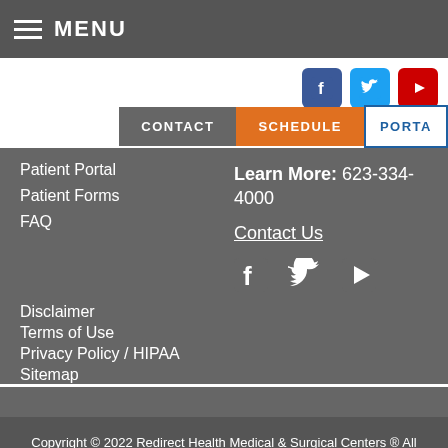MENU
Patient Portal
Patient Forms
FAQ
Learn More: 623-334-4000
Contact Us
Disclaimer
Terms of Use
Privacy Policy / HIPAA
Sitemap
Copyright © 2022 Redirect Health Medical & Surgical Centers ® All Rights Reserved